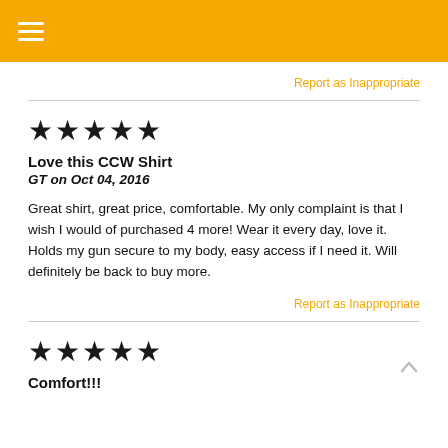☰ (hamburger menu icon)
Report as Inappropriate
★★★★★
Love this CCW Shirt
GT on Oct 04, 2016
Great shirt, great price, comfortable. My only complaint is that I wish I would of purchased 4 more! Wear it every day, love it. Holds my gun secure to my body, easy access if I need it. Will definitely be back to buy more.
Report as Inappropriate
★★★★★
Comfort!!!